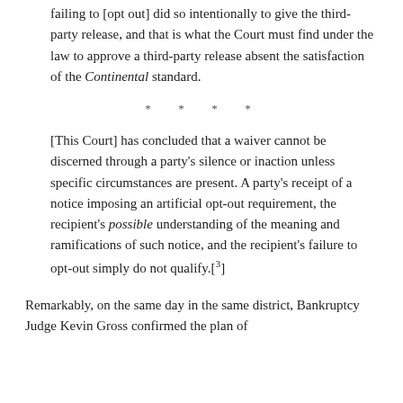failing to [opt out] did so intentionally to give the third-party release, and that is what the Court must find under the law to approve a third-party release absent the satisfaction of the Continental standard.
* * * *
[This Court] has concluded that a waiver cannot be discerned through a party's silence or inaction unless specific circumstances are present. A party's receipt of a notice imposing an artificial opt-out requirement, the recipient's possible understanding of the meaning and ramifications of such notice, and the recipient's failure to opt-out simply do not qualify.[3]
Remarkably, on the same day in the same district, Bankruptcy Judge Kevin Gross confirmed the plan of